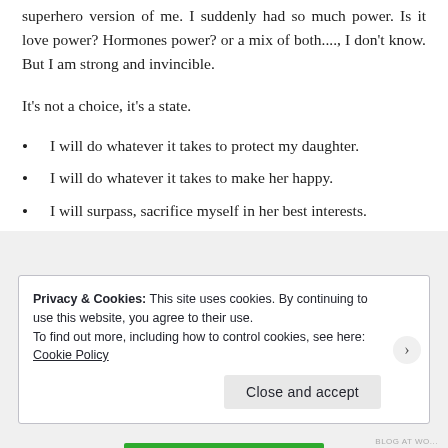superhero version of me. I suddenly had so much power. Is it love power? Hormones power? or a mix of both...., I don't know. But I am strong and invincible.
It's not a choice, it's a state.
I will do whatever it takes to protect my daughter.
I will do whatever it takes to make her happy.
I will surpass, sacrifice myself in her best interests.
Privacy & Cookies: This site uses cookies. By continuing to use this website, you agree to their use.
To find out more, including how to control cookies, see here: Cookie Policy
Close and accept